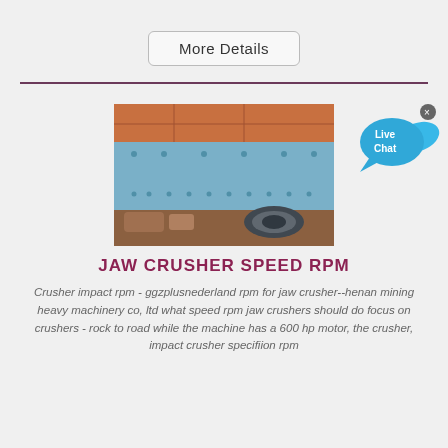More Details
[Figure (photo): Industrial jaw crusher machinery showing large blue metal frame with bolted panels and mechanical drive components including pulleys and belts]
[Figure (other): Live Chat button badge with speech bubble icon]
JAW CRUSHER SPEED RPM
Crusher impact rpm - ggzplusnederland rpm for jaw crusher--henan mining heavy machinery co, ltd what speed rpm jaw crushers should do focus on crushers - rock to road while the machine has a 600 hp motor, the crusher, impact crusher specifiion rpm